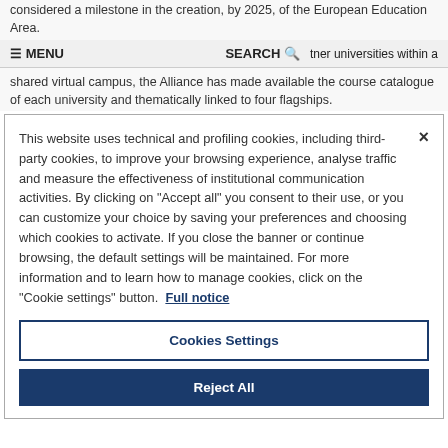considered a milestone in the creation, by 2025, of the European Education Area.
≡ MENU   SEARCH 🔍   tner universities within a
shared virtual campus, the Alliance has made available the course catalogue of each university and thematically linked to four flagships.
For more information:
Course catalogue 2021-22
This website uses technical and profiling cookies, including third-party cookies, to improve your browsing experience, analyse traffic and measure the effectiveness of institutional communication activities. By clicking on "Accept all" you consent to their use, or you can customize your choice by saving your preferences and choosing which cookies to activate. If you close the banner or continue browsing, the default settings will be maintained. For more information and to learn how to manage cookies, click on the "Cookie settings" button. Full notice
Cookies Settings
Reject All